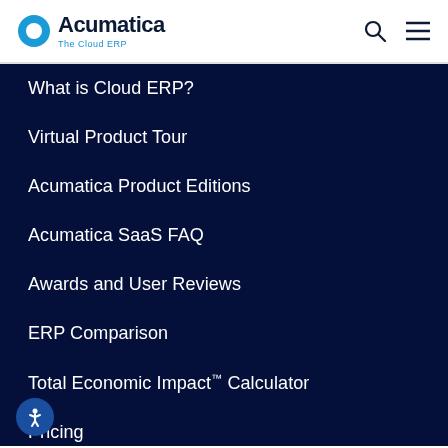[Figure (logo): Acumatica logo with blue circle icon and text 'Acumatica The Cloud ERP']
What is Cloud ERP?
Virtual Product Tour
Acumatica Product Editions
Acumatica SaaS FAQ
Awards and User Reviews
ERP Comparison
Total Economic Impact™ Calculator
Pricing
Partners
ISV Partners